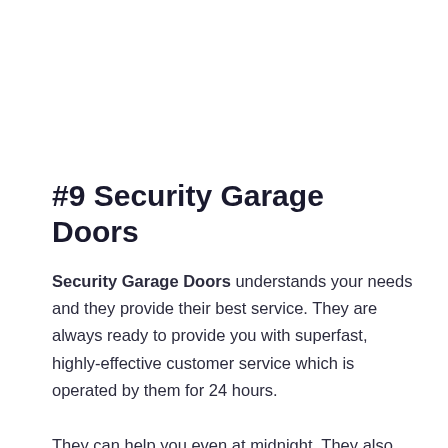#9 Security Garage Doors
Security Garage Doors understands your needs and they provide their best service. They are always ready to provide you with superfast, highly-effective customer service which is operated by them for 24 hours.
They can help you even at midnight. They also operate a phone service, by which you can contact